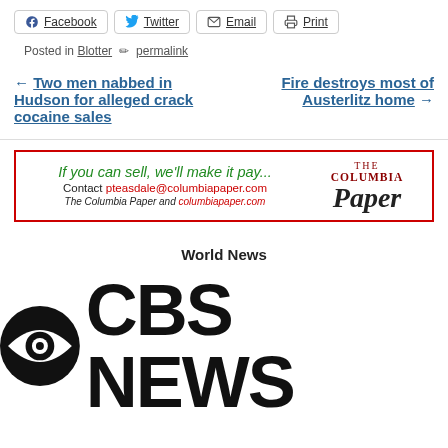[Figure (other): Social share buttons: Facebook, Twitter, Email, Print]
Posted in Blotter ✏ permalink
← Two men nabbed in Hudson for alleged crack cocaine sales
Fire destroys most of Austerlitz home →
[Figure (other): Advertisement banner: If you can sell, we'll make it pay... Contact pteasdale@columbiapaper.com The Columbia Paper and columbiapaper.com. The Columbia Paper logo on the right.]
World News
[Figure (logo): CBS News logo: CBS eye icon followed by CBS NEWS text in bold black]